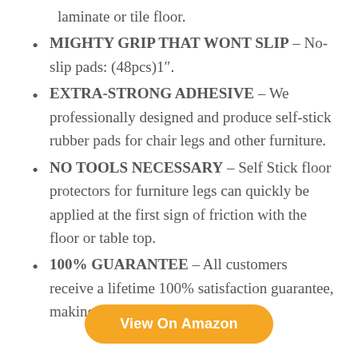laminate or tile floor.
MIGHTY GRIP THAT WONT SLIP – No-slip pads: (48pcs)1”.
EXTRA-STRONG ADHESIVE – We professionally designed and produce self-stick rubber pads for chair legs and other furniture.
NO TOOLS NECESSARY – Self Stick floor protectors for furniture legs can quickly be applied at the first sign of friction with the floor or table top.
100% GUARANTEE – All customers receive a lifetime 100% satisfaction guarantee, making this a risk-free purchase.
View On Amazon